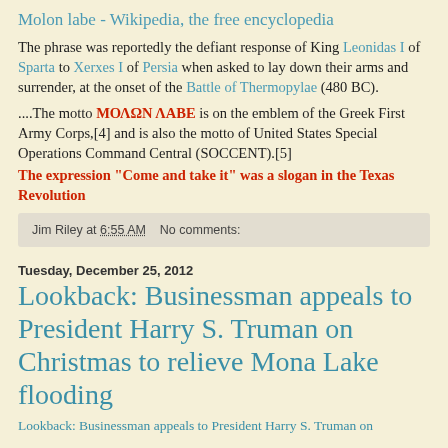Molon labe - Wikipedia, the free encyclopedia
The phrase was reportedly the defiant response of King Leonidas I of Sparta to Xerxes I of Persia when asked to lay down their arms and surrender, at the onset of the Battle of Thermopylae (480 BC).
....The motto ΜΟΛΩΝ ΛΑΒΕ is on the emblem of the Greek First Army Corps,[4] and is also the motto of United States Special Operations Command Central (SOCCENT).[5]
The expression "Come and take it" was a slogan in the Texas Revolution
Jim Riley at 6:55 AM   No comments:
Tuesday, December 25, 2012
Lookback: Businessman appeals to President Harry S. Truman on Christmas to relieve Mona Lake flooding
Lookback: Businessman appeals to President Harry S. Truman on